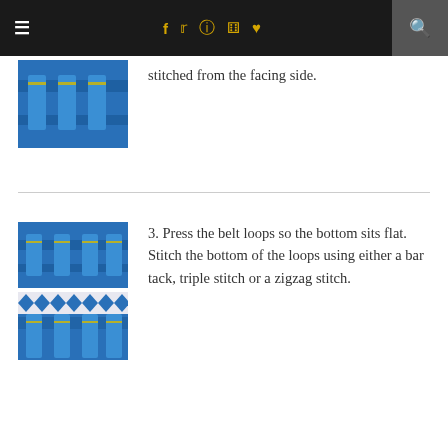≡  f  ♦  ☎  ⊕  ♥  🔍
[Figure (photo): Close-up photo of blue fabric with belt loops stitched]
stitched from the facing side.
[Figure (photo): Two photos of blue fabric belt loops — top photo shows loops from above, bottom shows loops from reverse/inside with decorative trim]
3. Press the belt loops so the bottom sits flat. Stitch the bottom of the loops using either a bar tack, triple stitch or a zigzag stitch.